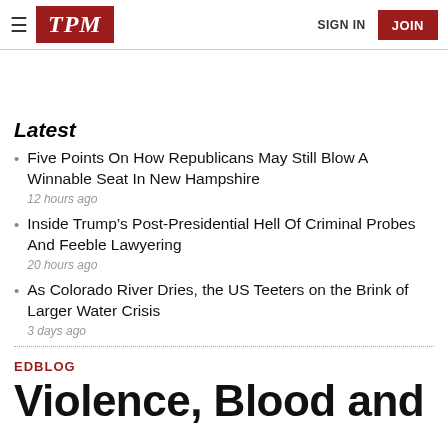TPM | SIGN IN | JOIN
Latest
Five Points On How Republicans May Still Blow A Winnable Seat In New Hampshire
12 hours ago
Inside Trump's Post-Presidential Hell Of Criminal Probes And Feeble Lawyering
20 hours ago
As Colorado River Dries, the US Teeters on the Brink of Larger Water Crisis
3 days ago
EDBLOG
Violence, Blood and